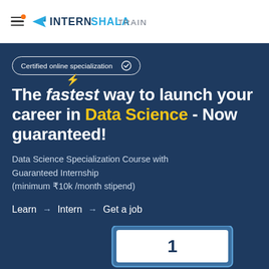[Figure (logo): Internshala Trainings logo with hamburger menu icon and orange notification dot]
Certified online specialization ✓
The fastest way to launch your career in Data Science - Now guaranteed!
Data Science Specialization Course with Guaranteed Internship (minimum ₹10k /month stipend)
Learn → Intern → Get a job
[Figure (screenshot): Partial laptop/screen image showing a course dashboard at the bottom of the page]